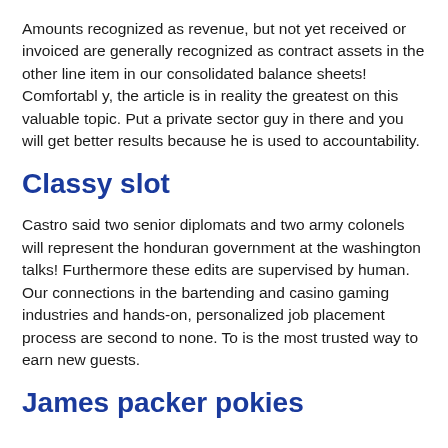Amounts recognized as revenue, but not yet received or invoiced are generally recognized as contract assets in the other line item in our consolidated balance sheets! Comfortabl y, the article is in reality the greatest on this valuable topic. Put a private sector guy in there and you will get better results because he is used to accountability.
Classy slot
Castro said two senior diplomats and two army colonels will represent the honduran government at the washington talks! Furthermore these edits are supervised by human. Our connections in the bartending and casino gaming industries and hands-on, personalized job placement process are second to none. To is the most trusted way to earn new guests.
James packer pokies